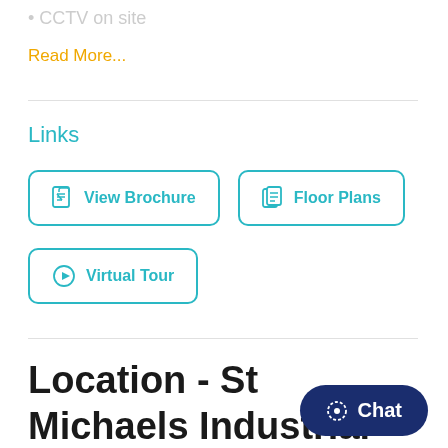• CCTV on site
Read More...
Links
View Brochure
Floor Plans
Virtual Tour
Location - St Michaels Industrial Estate
Chat